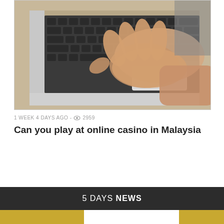[Figure (photo): Close-up photo of a person's hand typing on a silver laptop keyboard, viewed from an angle.]
1 WEEK 4 DAYS AGO - 👁 2959
Can you play at online casino in Malaysia
5 DAYS NEWS